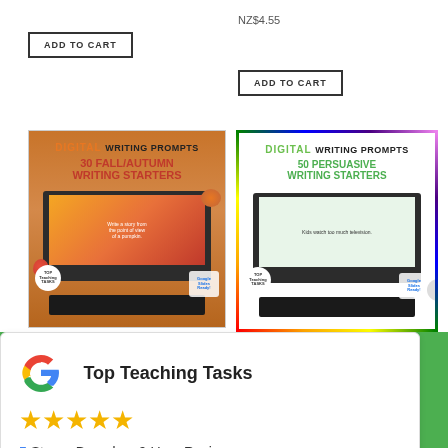NZ$4.55
ADD TO CART
ADD TO CART
[Figure (illustration): Digital Writing Prompts: 30 Fall/Autumn Writing Starters product image showing a computer monitor and tablet with autumn-themed writing prompts, fall decorations including apple and pumpkin, Top Teaching Tasks and Google Slides Ready badges]
[Figure (illustration): Digital Writing Prompts: 50 Persuasive Writing Starters product image showing a computer monitor and tablet with persuasive writing prompts, rainbow border, Top Teaching Tasks and Google Slides Ready badges, close/X button overlay]
Top Teaching Tasks
5 Stars - Based on 9 User Reviews